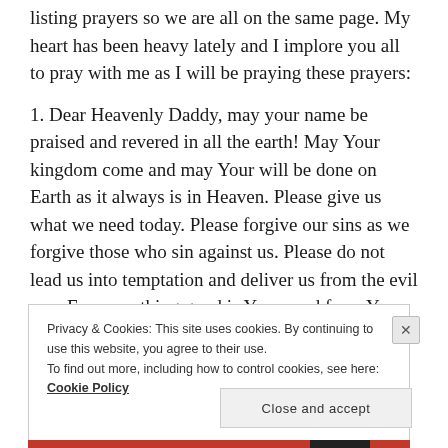listing prayers so we are all on the same page. My heart has been heavy lately and I implore you all to pray with me as I will be praying these prayers:
1. Dear Heavenly Daddy, may your name be praised and revered in all the earth! May Your kingdom come and may Your will be done on Earth as it always is in Heaven. Please give us what we need today. Please forgive our sins as we forgive those who sin against us. Please do not lead us into temptation and deliver us from the evil one. For everything good is Yours and from You.
Privacy & Cookies: This site uses cookies. By continuing to use this website, you agree to their use. To find out more, including how to control cookies, see here: Cookie Policy